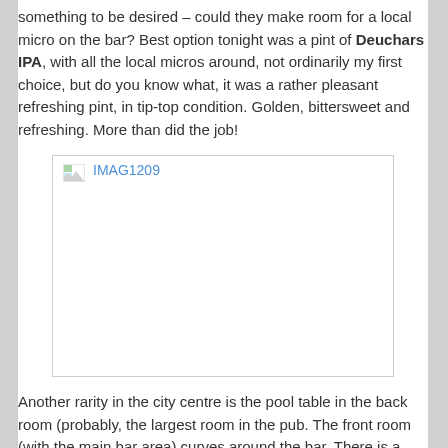something to be desired – could they make room for a local micro on the bar? Best option tonight was a pint of Deuchars IPA, with all the local micros around, not ordinarily my first choice, but do you know what, it was a rather pleasant refreshing pint, in tip-top condition. Golden, bittersweet and refreshing. More than did the job!
[Figure (photo): Placeholder image box labeled IMAG1209]
Another rarity in the city centre is the pool table in the back room (probably, the largest room in the pub. The front room (with the main bar area) curves around the bar. There is a further (rather beautiful) third room, triangular in shape, with a real fire, small, but perfectly formed – a bit like this rather unique old boozer.
[Figure (photo): Placeholder image box labeled IMAG1311]